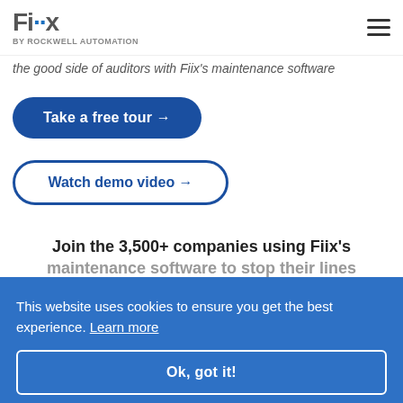Fiix BY ROCKWELL AUTOMATION
the good side of auditors with Fiix's maintenance software
Take a free tour →
Watch demo video →
Join the 3,500+ companies using Fiix's maintenance software to stop their lines from going down.
This website uses cookies to ensure you get the best experience. Learn more
Ok, got it!
[Figure (logo): Toyota logo and text]
[Figure (logo): Valtalia logo text]
[Figure (logo): Legal purple logo]
[Figure (logo): Siemens logo]
[Figure (logo): Sun badge logo]
[Figure (logo): Magna logo]